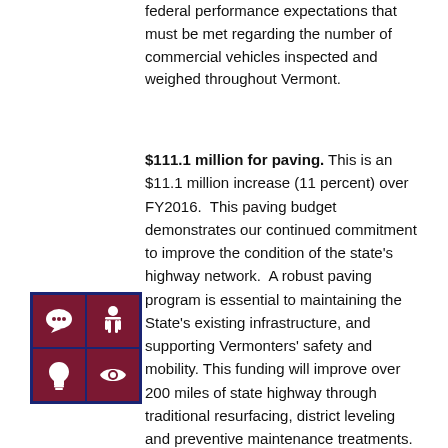federal performance expectations that must be met regarding the number of commercial vehicles inspected and weighed throughout Vermont.
$111.1 million for paving. This is an $11.1 million increase (11 percent) over FY2016. This paving budget demonstrates our continued commitment to improve the condition of the state's highway network. A robust paving program is essential to maintaining the State's existing infrastructure, and supporting Vermonters' safety and mobility. This funding will improve over 200 miles of state highway through traditional resurfacing, district leveling and preventive maintenance treatments. These investments will continue our record of improvements to pavement conditions. The percentage of pavements rated in very poor condition has declined from a high of 36 percent in
[Figure (other): A 2x2 grid icon box with dark navy blue border. Top-left cell: maroon background with white speech bubble icon. Top-right cell: maroon background with white hand/accessibility icon. Bottom-left cell: maroon background with white lightbulb icon. Bottom-right cell: maroon background with white eye icon.]